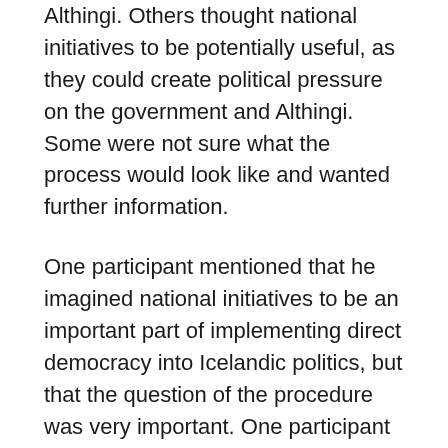Althingi. Others thought national initiatives to be potentially useful, as they could create political pressure on the government and Althingi. Some were not sure what the process would look like and wanted further information.
One participant mentioned that he imagined national initiatives to be an important part of implementing direct democracy into Icelandic politics, but that the question of the procedure was very important. One participant considered initiatives to possibly have a dark side, for example if they concerned taking rights away from minorities. Participants discussed what the process and framework around national initiatives should look like, so that they could not be abused. In one group, a participant suggested that one national initiative should be allowed each year. Participants in other groups also suggested limits on how many